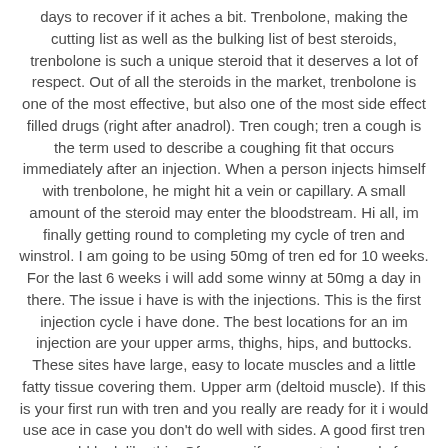days to recover if it aches a bit. Trenbolone, making the cutting list as well as the bulking list of best steroids, trenbolone is such a unique steroid that it deserves a lot of respect. Out of all the steroids in the market, trenbolone is one of the most effective, but also one of the most side effect filled drugs (right after anadrol). Tren cough; tren a cough is the term used to describe a coughing fit that occurs immediately after an injection. When a person injects himself with trenbolone, he might hit a vein or capillary. A small amount of the steroid may enter the bloodstream. Hi all, im finally getting round to completing my cycle of tren and winstrol. I am going to be using 50mg of tren ed for 10 weeks. For the last 6 weeks i will add some winny at 50mg a day in there. The issue i have is with the injections. This is the first injection cycle i have done. The best locations for an im injection are your upper arms, thighs, hips, and buttocks. These sites have large, easy to locate muscles and a little fatty tissue covering them. Upper arm (deltoid muscle). If this is your first run with tren and you really are ready for it i would use ace in case you don't do well with sides. A good first tren run would look like this. Of course if you are truly ready for a tren cycle which we need more info to know. Wk 1-8 test prop 50mg eod wk 1-